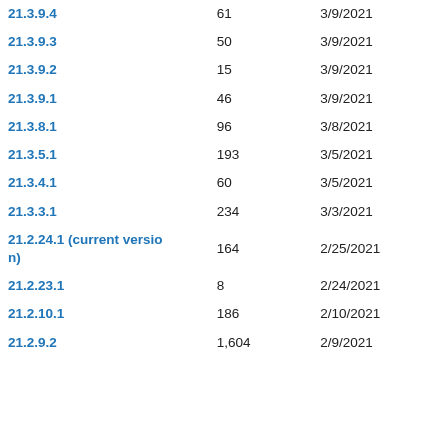| 21.3.9.4 | 61 | 3/9/2021 |
| 21.3.9.3 | 50 | 3/9/2021 |
| 21.3.9.2 | 15 | 3/9/2021 |
| 21.3.9.1 | 46 | 3/9/2021 |
| 21.3.8.1 | 96 | 3/8/2021 |
| 21.3.5.1 | 193 | 3/5/2021 |
| 21.3.4.1 | 60 | 3/5/2021 |
| 21.3.3.1 | 234 | 3/3/2021 |
| 21.2.24.1 (current version) | 164 | 2/25/2021 |
| 21.2.23.1 | 8 | 2/24/2021 |
| 21.2.10.1 | 186 | 2/10/2021 |
| 21.2.9.2 | 1,604 | 2/9/2021 |